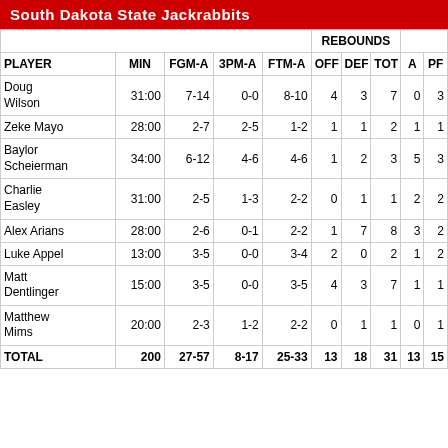South Dakota State Jackrabbits
| PLAYER | MIN | FGM-A | 3PM-A | FTM-A | OFF | DEF | TOT | A | PF |
| --- | --- | --- | --- | --- | --- | --- | --- | --- | --- |
| Doug Wilson | 31:00 | 7-14 | 0-0 | 8-10 | 4 | 3 | 7 | 0 | 3 |
| Zeke Mayo | 28:00 | 2-7 | 2-5 | 1-2 | 1 | 1 | 2 | 1 | 1 |
| Baylor Scheierman | 34:00 | 6-12 | 4-6 | 4-6 | 1 | 2 | 3 | 5 | 3 |
| Charlie Easley | 31:00 | 2-5 | 1-3 | 2-2 | 0 | 1 | 1 | 2 | 2 |
| Alex Arians | 28:00 | 2-6 | 0-1 | 2-2 | 1 | 7 | 8 | 3 | 2 |
| Luke Appel | 13:00 | 3-5 | 0-0 | 3-4 | 2 | 0 | 2 | 1 | 2 |
| Matt Dentlinger | 15:00 | 3-5 | 0-0 | 3-5 | 4 | 3 | 7 | 1 | 1 |
| Matthew Mims | 20:00 | 2-3 | 1-2 | 2-2 | 0 | 1 | 1 | 0 | 1 |
| TOTAL | 200 | 27-57 | 8-17 | 25-33 | 13 | 18 | 31 | 13 | 15 |